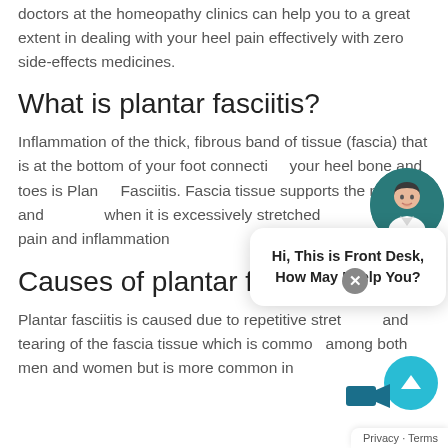doctors at the homeopathy clinics can help you to a great extent in dealing with your heel pain effectively with zero side-effects medicines.
What is plantar fasciitis?
Inflammation of the thick, fibrous band of tissue (fascia) that is at the bottom of your foot connecting your heel bone and toes is Plantar Fasciitis. Fascia tissue supports the muscle and when it is excessively stretched causing pain and inflammation
[Figure (screenshot): Chat widget showing avatar of a female receptionist and speech bubble reading: Hi, This is Front Desk, How May I Help You? with a close button and online indicator.]
Causes of plantar fasciitis:
Plantar fasciitis is caused due to repetitive stretching and tearing of the fascia tissue which is common among both men and women but is more common in
[Figure (other): Scroll-to-top button (teal circle with up arrow) and Privacy · Terms footer label at bottom right.]